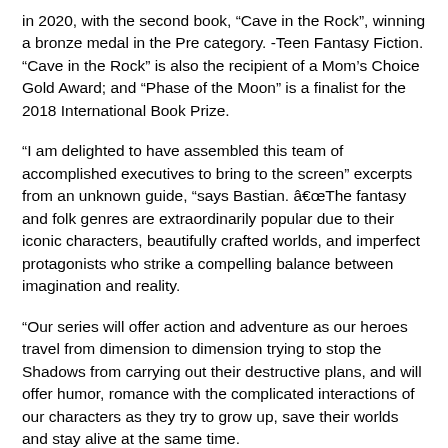in 2020, with the second book, “Cave in the Rock”, winning a bronze medal in the Pre category. -Teen Fantasy Fiction. “Cave in the Rock” is also the recipient of a Mom’s Choice Gold Award; and “Phase of the Moon” is a finalist for the 2018 International Book Prize.
“I am delighted to have assembled this team of accomplished executives to bring to the screen” excerpts from an unknown guide, “says Bastian. â€œThe fantasy and folk genres are extraordinarily popular due to their iconic characters, beautifully crafted worlds, and imperfect protagonists who strike a compelling balance between imagination and reality.
“Our series will offer action and adventure as our heroes travel from dimension to dimension trying to stop the Shadows from carrying out their destructive plans, and will offer humor, romance with the complicated interactions of our characters as they try to grow up, save their worlds and stay alive at the same time.
Shapiro says, â€œThe adventure and moral complexity of ‘Extracts